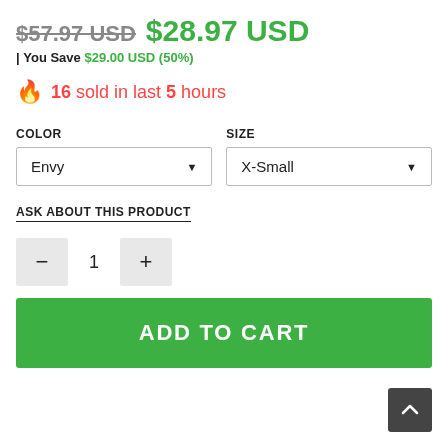$57.97 USD  $28.97 USD
| You Save $29.00 USD (50%)
16 sold in last 5 hours
COLOR  Envy  SIZE  X-Small
ASK ABOUT THIS PRODUCT
- 1 +
ADD TO CART